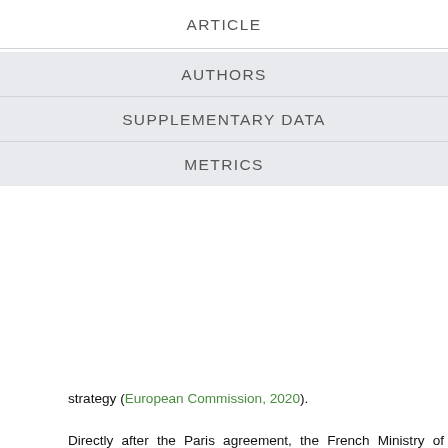ARTICLE
AUTHORS
SUPPLEMENTARY DATA
METRICS
strategy (European Commission, 2020). Directly after the Paris agreement, the French Ministry of Agriculture launched the 4 per 1000 initiative to demonstrate that agriculture, and in particular soils, plays a crucial role where food security and climate change are concerned. Increasing the carbon content of soils by 0.4 % or 4 per 1000 per year, could compensate for the yearly anthropogenic release of CO₂ into the atmosphere (https://www.4p1000.org). The initiative was basically a result of preceding publications proposing the sequestration of carbon in soils as a win-win scenario to mitigate climate change (Lal, 2004; Lal, 2010a). The initiative also referred to the potential for GHG emission reductions through wise soil management that increases SOC, tightens the soil nitrogen (N) cycle which could enhance fertility and productivity, increase soil biodiversity, reduce erosion